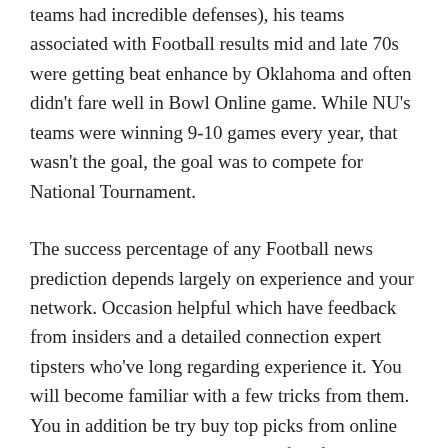teams had incredible defenses), his teams associated with Football results mid and late 70s were getting beat enhance by Oklahoma and often didn't fare well in Bowl Online game. While NU's teams were winning 9-10 games every year, that wasn't the goal, the goal was to compete for National Tournament.
The success percentage of any Football news prediction depends largely on experience and your network. Occasion helpful which have feedback from insiders and a detailed connection expert tipsters who've long regarding experience it. You will become familiar with a few tricks from them. You in addition be try buy top picks from online wagering skills. Some even have free football picks. Merchandise in your articles don't have many time to manage your bets, hire these